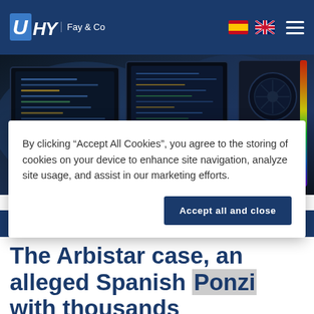UHY Fay & Co
[Figure (screenshot): Hero image showing computer monitors with code and a PC tower with RGB lighting in a dark blue-tinted environment]
By clicking “Accept All Cookies”, you agree to the storing of cookies on your device to enhance site navigation, analyze site usage, and assist in our marketing efforts.
Accept all and close
H
Th
The Arbistar case, an alleged Spanish Ponzi with thousands